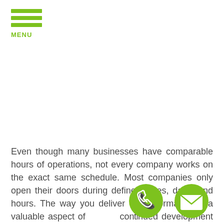[Figure (logo): Green hamburger menu icon with three horizontal green bars and the word MENU in green below]
Even though many businesses have comparable hours of operations, not every company works on the exact same schedule. Most companies only open their doors during defined times, days, and hours. The way you deliver that information is a valuable aspect of continued development and level of professionalism ar b
[Figure (illustration): Green circular phone call icon button]
[Figure (illustration): Green circular email/envelope icon button]